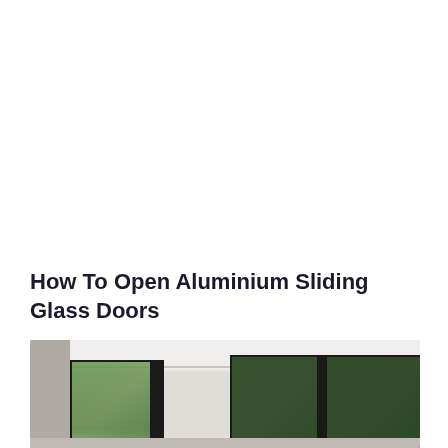How To Open Aluminium Sliding Glass Doors
[Figure (photo): Interior photo showing aluminium sliding glass doors with black frames, looking out to green trees/garden. Modern interior with grey/concrete walls on the left and large black-framed sliding glass panels on the right side.]